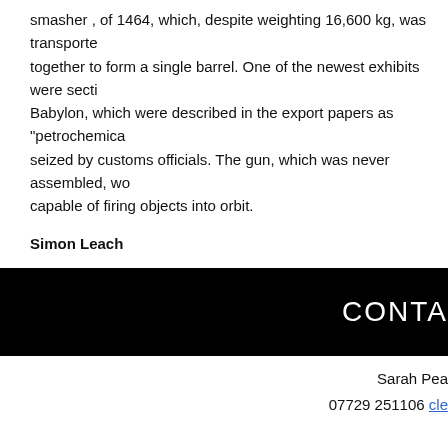smasher , of 1464, which, despite weighting 16,600 kg, was transported together to form a single barrel. One of the newest exhibits were sections of Babylon, which were described in the export papers as "petrochemical" and seized by customs officials. The gun, which was never assembled, would be capable of firing objects into orbit.
Simon Leach
CONTACT  Sarah Pea... 07729 251106 cle...